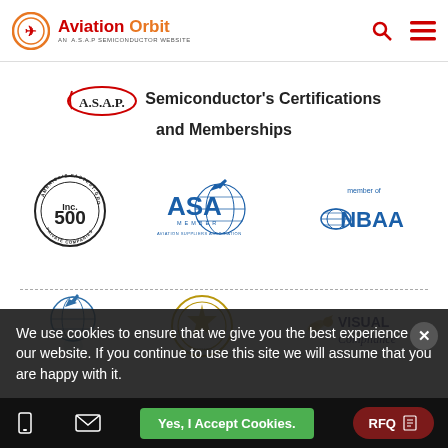Aviation Orbit — AN A.S.A.P SEMICONDUCTOR WEBSITE
A.S.A.P. Semiconductor's Certifications and Memberships
[Figure (logo): Inc. 500 America's Fastest-Growing Private Companies badge]
[Figure (logo): ASA Member – Aviation Suppliers Association logo]
[Figure (logo): NBAA member of logo]
[Figure (logo): ATA (globe with aircraft) logo]
[Figure (logo): Government/Department seal badge]
[Figure (logo): Visual Compliance logo]
We use cookies to ensure that we give you the best experience on our website. If you continue to use this site we will assume that you are happy with it.